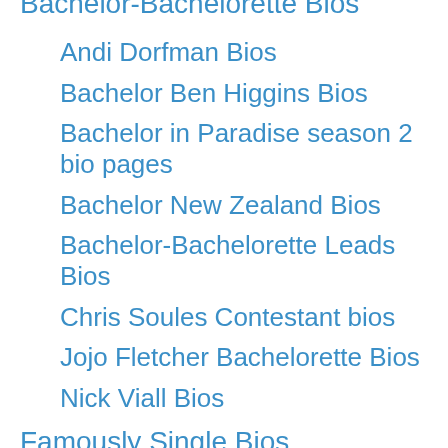Bachelor-Bachelorette Bios (partial, top cut off)
Andi Dorfman Bios
Bachelor Ben Higgins Bios
Bachelor in Paradise season 2 bio pages
Bachelor New Zealand Bios
Bachelor-Bachelorette Leads Bios
Chris Soules Contestant bios
Jojo Fletcher Bachelorette Bios
Nick Viall Bios
Famously Single Bios
Just Jillian
Ladies of London Bios
MAFS season 3 bios
Married at First Sight season 2 Bios